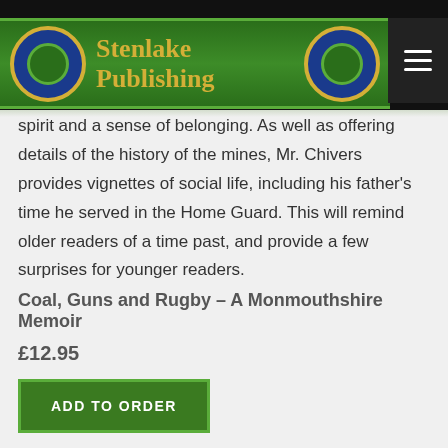[Figure (logo): Stenlake Publishing logo — green banner with gold text and blue/gold circular emblems on each side, on a dark header bar]
spirit and a sense of belonging. As well as offering details of the history of the mines, Mr. Chivers provides vignettes of social life, including his father's time he served in the Home Guard. This will remind older readers of a time past, and provide a few surprises for younger readers.
Coal, Guns and Rugby – A Monmouthshire Memoir
£12.95
ADD TO ORDER